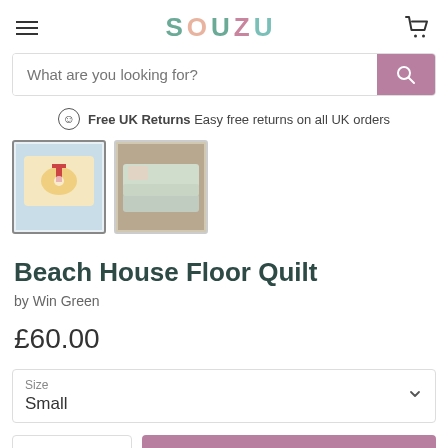SOUZU
What are you looking for?
Free UK Returns Easy free returns on all UK orders
[Figure (photo): Two thumbnail images of a beach house floor quilt product: first shows flat quilt with lighthouse design, second shows quilt folded/stacked]
Beach House Floor Quilt
by Win Green
£60.00
Size
Small
Quantity